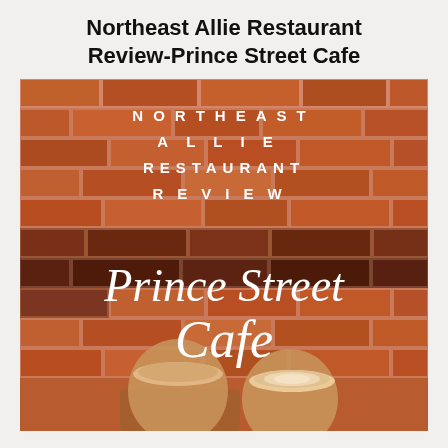Northeast Allie Restaurant Review-Prince Street Cafe
[Figure (illustration): Brick wall background with white spaced-letter text 'NORTHEAST ALLIE RESTAURANT REVIEW' at top, and large white cursive/script text 'Prince Street Cafe' in center, with two latte/cappuccino cups visible at bottom]